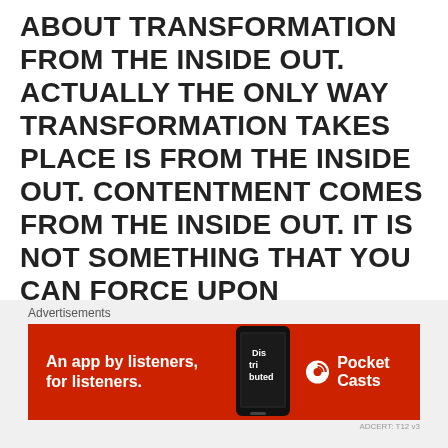ABOUT TRANSFORMATION FROM THE INSIDE OUT. ACTUALLY THE ONLY WAY TRANSFORMATION TAKES PLACE IS FROM THE INSIDE OUT. CONTENTMENT COMES FROM THE INSIDE OUT. IT IS NOT SOMETHING THAT YOU CAN FORCE UPON YOURSELF BECAUSE YOU DECIDE TO. IT COMES FROM THE PEACE THAT PASSES ALL UNDERSTANDING. IT COMES FROM THE GIVER OF PEACE – THE HOLY SPIRIT.
Advertisements
[Figure (photo): Red advertisement banner for Pocket Casts app reading 'An app by listeners, for listeners.' with a phone image showing 'Dis tri buted' and Pocket Casts logo on the right.]